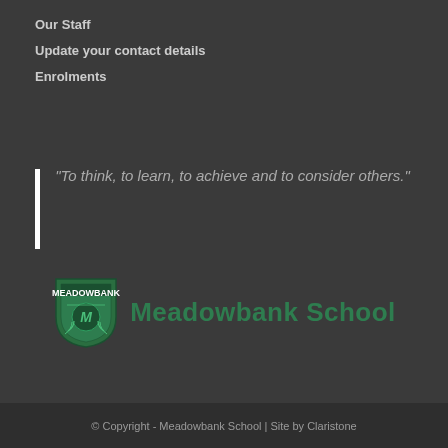Our Staff
Update your contact details
Enrolments
“To think, to learn, to achieve and to consider others.”
[Figure (logo): Meadowbank School shield crest logo in green with text 'Meadowbank School' in green]
© Copyright - Meadowbank School | Site by Claristone